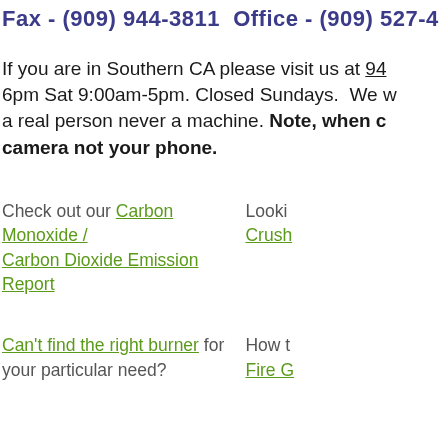Fax - (909) 944-3811  Office - (909) 527-4
If you are in Southern CA please visit us at 94 6pm Sat 9:00am-5pm. Closed Sundays. We w a real person never a machine. Note, when c camera not your phone.
Check out our Carbon Monoxide / Carbon Dioxide Emission Report
Looki Crush
Can't find the right burner for your particular need?
How t Fire G